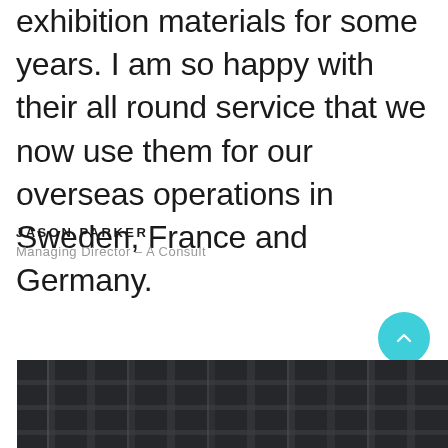exhibition materials for some years. I am so happy with their all round service that we now use them for our overseas operations in Sweden, France and Germany.
JASON PARKER
Managing Director – A Consult
[Figure (photo): Industrial metal grating or grid structure photographed from below, showing vertical bars and framework in dark tones]